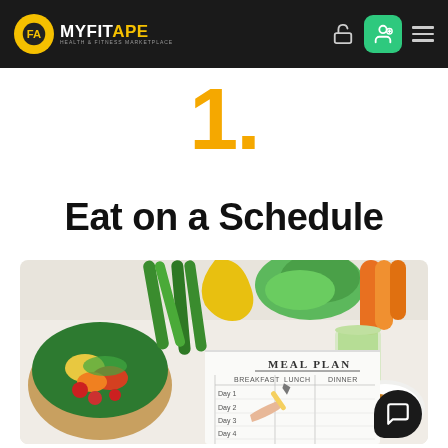MYFITAPE — HEALTH & FITNESS MARKETPLACE
1.
Eat on a Schedule
[Figure (photo): Top-down view of a meal planning worksheet with columns for Breakfast, Lunch, Dinner and rows for Day 1 through Day 5, surrounded by a colorful salad bowl, green vegetables, a glass of green juice, carrots, and a croissant on a white plate. A hand holds a pencil over the worksheet.]